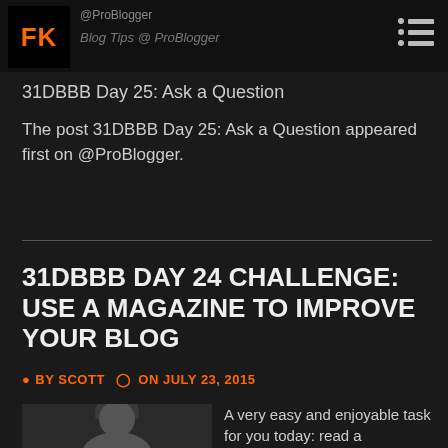FK | Blog Tips @ ProBlogger
31DBBB Day 25: Ask a Question
The post 31DBBB Day 25: Ask a Question appeared first on @ProBlogger.
31DBBB DAY 24 CHALLENGE: USE A MAGAZINE TO IMPROVE YOUR BLOG
BY SCOTT  ON JULY 23, 2015
A very easy and enjoyable task for you today: read a